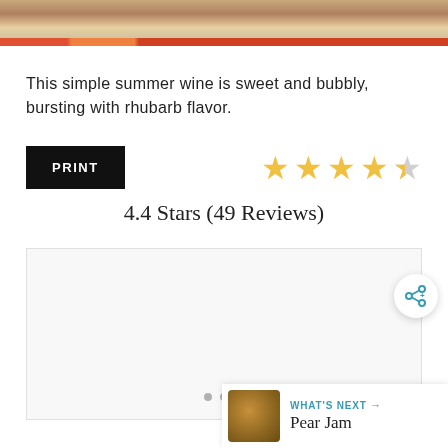[Figure (photo): Top partial image of food/drink scene with colorful background, partially cropped at top of page]
This simple summer wine is sweet and bubbly, bursting with rhubarb flavor.
[Figure (infographic): PRINT button (black rectangle with white text) and 4.4 star rating with 49 reviews]
4.4 Stars (49 Reviews)
[Figure (screenshot): Gray advertisement placeholder box with dots at bottom, share button, and 'What's Next: Pear Jam' widget]